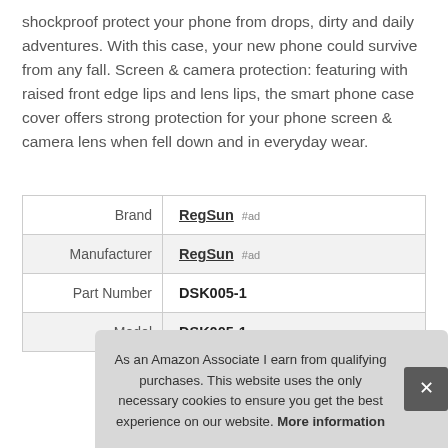shockproof protect your phone from drops, dirty and daily adventures. With this case, your new phone could survive from any fall. Screen & camera protection: featuring with raised front edge lips and lens lips, the smart phone case cover offers strong protection for your phone screen & camera lens when fell down and in everyday wear.
|  |  |
| --- | --- |
| Brand | RegSun #ad |
| Manufacturer | RegSun #ad |
| Part Number | DSK005-1 |
| Model | DSK005-1 |
As an Amazon Associate I earn from qualifying purchases. This website uses the only necessary cookies to ensure you get the best experience on our website. More information